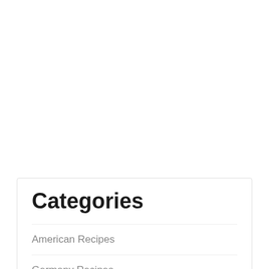Categories
American Recipes
Germany Recipes
Healthy Food